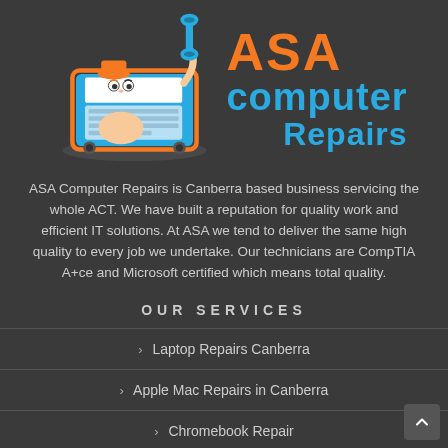[Figure (logo): ASA Computer Repairs logo with cartoon laptop character holding a wrench and text 'ASA computer Repairs']
ASA Computer Repairs is Canberra based business servicing the whole ACT. We have built a reputation for quality work and efficient IT solutions. At ASA we tend to deliver the same high quality to every job we undertake. Our technicians are CompTIA A+ce and Microsoft certified which means total quality.
OUR SERVICES
Laptop Repairs Canberra
Apple Mac Repairs in Canberra
Chromebook Repair
Microsoft Windows Repair and Installation